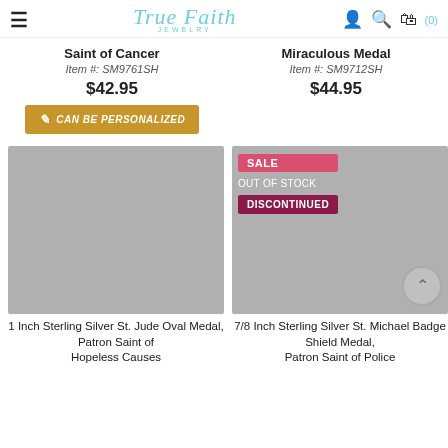True Faith Jewelry
Saint of Cancer
Item #: SM9761SH
$42.95
CAN BE PERSONALIZED
Miraculous Medal
Item #: SM9712SH
$44.95
[Figure (photo): Product image placeholder - left item, gray rectangle]
1 Inch Sterling Silver St. Jude Oval Medal, Patron Saint of Hopeless Causes
[Figure (photo): Product image placeholder - right item, gray rectangle with SALE, OUT OF STOCK, DISCONTINUED badges]
7/8 Inch Sterling Silver St. Michael Badge Shield Medal, Patron Saint of Police